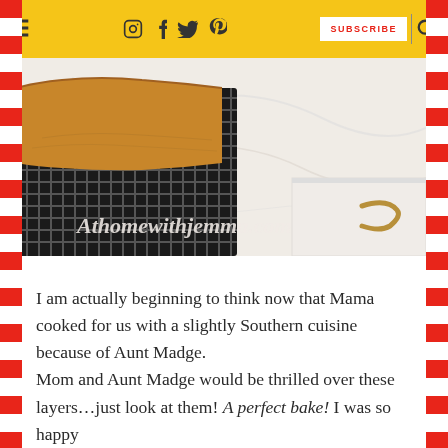≡  [Instagram] [Facebook] [Twitter] [Pinterest]  SUBSCRIBE  [Search]
[Figure (photo): A golden-brown pound cake or loaf cooling on a black wire rack on a white marble countertop with a brass cabinet pull. Watermark reads 'Athomewithjemma.com']
I am actually beginning to think now that Mama cooked for us with a slightly Southern cuisine because of Aunt Madge.
Mom and Aunt Madge would be thrilled over these layers…just look at them! A perfect bake! I was so happy